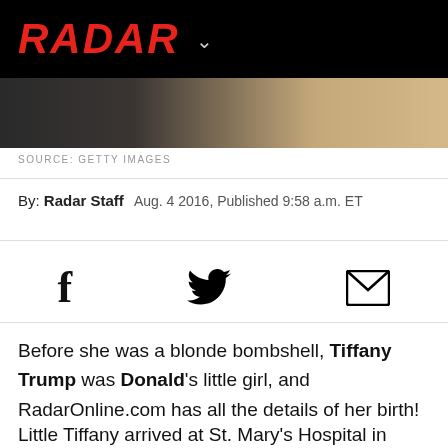RADAR
[Figure (photo): Partial photo of two people, cropped at top of page below navigation bar]
SOURCE: GETTY IMAGES
By: Radar Staff   Aug. 4 2016, Published 9:58 a.m. ET
[Figure (infographic): Social share icons: Facebook, Twitter, Email]
Before she was a blonde bombshell, Tiffany Trump was Donald's little girl, and RadarOnline.com has all the details of her birth!
Little Tiffany arrived at St. Mary's Hospital in West Palm Beach,